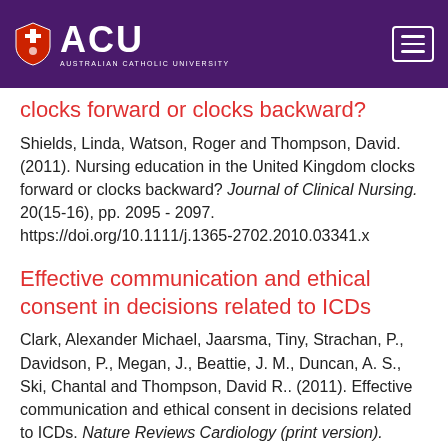[Figure (logo): ACU Australian Catholic University logo with shield icon on purple header bar]
clocks forward or clocks backward?
Shields, Linda, Watson, Roger and Thompson, David. (2011). Nursing education in the United Kingdom clocks forward or clocks backward? Journal of Clinical Nursing. 20(15-16), pp. 2095 - 2097. https://doi.org/10.1111/j.1365-2702.2010.03341.x
Effective communication and ethical consent in decisions related to ICDs
Clark, Alexander Michael, Jaarsma, Tiny, Strachan, P., Davidson, P., Megan, J., Beattie, J. M., Duncan, A. S., Ski, Chantal and Thompson, David R.. (2011). Effective communication and ethical consent in decisions related to ICDs. Nature Reviews Cardiology (print version). 8(12), pp. 694 - 705. http